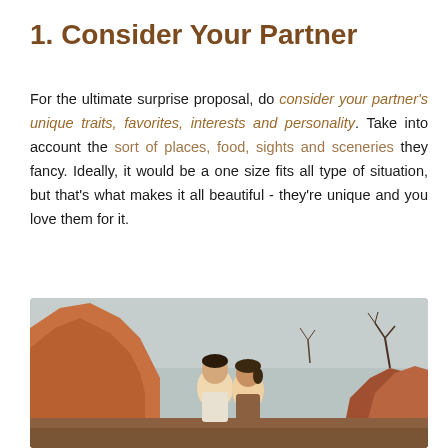1. Consider Your Partner
For the ultimate surprise proposal, do consider your partner's unique traits, favorites, interests and personality. Take into account the sort of places, food, sights and sceneries they fancy. Ideally, it would be a one size fits all type of situation, but that's what makes it all beautiful - they're unique and you love them for it.
[Figure (photo): A couple in an outdoor rocky landscape setting, facing each other closely, with warm-toned rock formations and bare trees in the background.]